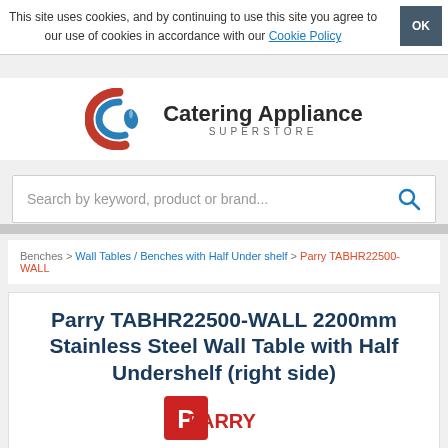This site uses cookies, and by continuing to use this site you agree to our use of cookies in accordance with our Cookie Policy
[Figure (logo): Catering Appliance Superstore logo — red/blue double-C swirl with flame droplet, beside bold text 'Catering Appliance' and 'SUPERSTORE' in spaced caps]
Search by keyword, product or brand...
Benches > Wall Tables / Benches with Half Under shelf > Parry TABHR22500-WALL
Parry TABHR22500-WALL 2200mm Stainless Steel Wall Table with Half Undershelf (right side)
[Figure (logo): Parry logo — partial, red rectangle with stylized P icon and PARRY text in white]